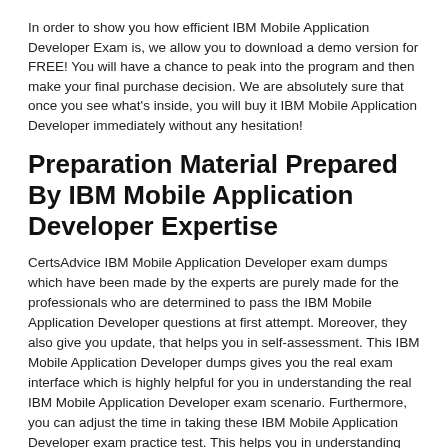In order to show you how efficient IBM Mobile Application Developer Exam is, we allow you to download a demo version for FREE! You will have a chance to peak into the program and then make your final purchase decision. We are absolutely sure that once you see what's inside, you will buy it IBM Mobile Application Developer immediately without any hesitation!
Preparation Material Prepared By IBM Mobile Application Developer Expertise
CertsAdvice IBM Mobile Application Developer exam dumps which have been made by the experts are purely made for the professionals who are determined to pass the IBM Mobile Application Developer questions at first attempt. Moreover, they also give you update, that helps you in self-assessment. This IBM Mobile Application Developer dumps gives you the real exam interface which is highly helpful for you in understanding the real IBM Mobile Application Developer exam scenario. Furthermore, you can adjust the time in taking these IBM Mobile Application Developer exam practice test. This helps you in understanding your time management in the real IBM Mobile Application Developer